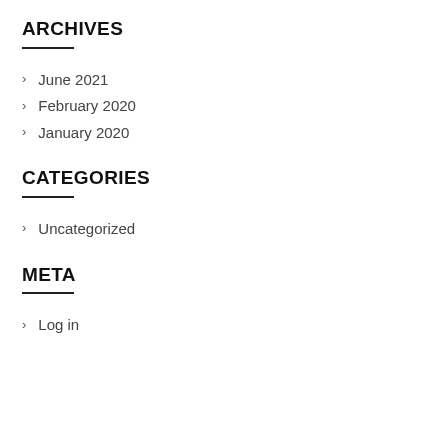ARCHIVES
June 2021
February 2020
January 2020
CATEGORIES
Uncategorized
META
Log in